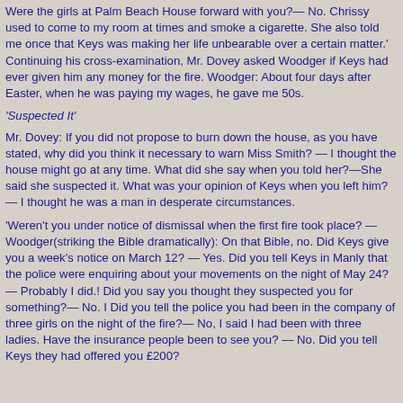Were the girls at Palm Beach House forward with you?— No. Chrissy used to come to my room at times and smoke a cigarette. She also told me once that Keys was making her life unbearable over a certain matter.' Continuing his cross-examination, Mr. Dovey asked Woodger if Keys had ever given him any money for the fire. Woodger: About four days after Easter, when he was paying my wages, he gave me 50s.
'Suspected It'
Mr. Dovey: If you did not propose to burn down the house, as you have stated, why did you think it necessary to warn Miss Smith? — I thought the house might go at any time. What did she say when you told her?—She said she suspected it. What was your opinion of Keys when you left him?— I thought he was a man in desperate circumstances.
'Weren't you under notice of dismissal when the first fire took place? — Woodger(striking the Bible dramatically): On that Bible, no. Did Keys give you a week's notice on March 12? — Yes. Did you tell Keys in Manly that the police were enquiring about your movements on the night of May 24?— Probably I did.! Did you say you thought they suspected you for something?— No. I Did you tell the police you had been in the company of three girls on the night of the fire?— No, I said I had been with three ladies. Have the insurance people been to see you? — No. Did you tell Keys they had offered you £200?